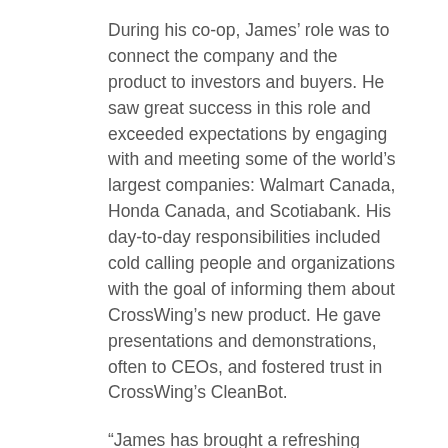During his co-op, James' role was to connect the company and the product to investors and buyers. He saw great success in this role and exceeded expectations by engaging with and meeting some of the world's largest companies: Walmart Canada, Honda Canada, and Scotiabank. His day-to-day responsibilities included cold calling people and organizations with the goal of informing them about CrossWing's new product. He gave presentations and demonstrations, often to CEOs, and fostered trust in CrossWing's CleanBot.
“James has brought a refreshing change to our team dynamic and has proactively taken on responsibility. His eagerness to learn and implement his newfound skills really impressed us. His communication skills have only progressed with time and his determination in following up on sales activities is exemplary,” said Ahmad.
Having a co-op student he could depend on to perform work of this caliber was key to the success in this role, which had a direct impact on the company’s bottom line. Beyond these benefits, Ahmad recognizes the value of supporting a co-op